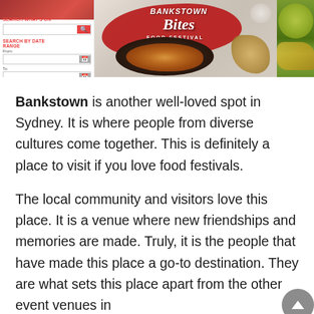[Figure (screenshot): Three-panel image strip: left panel shows a mobile UI with search fields and date range pickers in red/white; center panel shows a promotional banner for Bankstown Bites Food Festival with red brush strokes and food imagery; right panel shows a partial green produce/market image.]
Bankstown is another well-loved spot in Sydney. It is where people from diverse cultures come together. This is definitely a place to visit if you love food festivals.
The local community and visitors love this place. It is a venue where new friendships and memories are made. Truly, it is the people that have made this place a go-to destination. They are what sets this place apart from the other event venues in